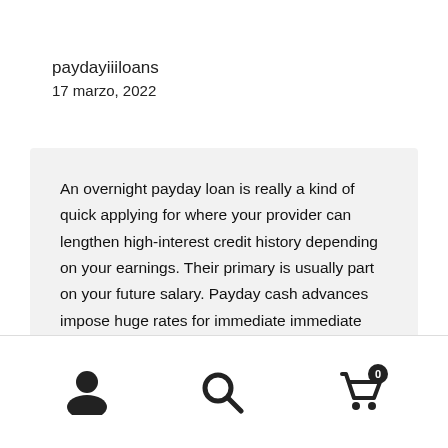paydayiiiloans
17 marzo, 2022
An overnight payday loan is really a kind of quick applying for where your provider can lengthen high-interest credit history depending on your earnings. Their primary is usually part on your future salary. Payday cash advances impose huge rates for immediate immediate credit rating. Also , they are called payday loans or maybe check out boost loans paydayiiiloans.com loans.
[user icon] [search icon] [cart icon with badge 0]